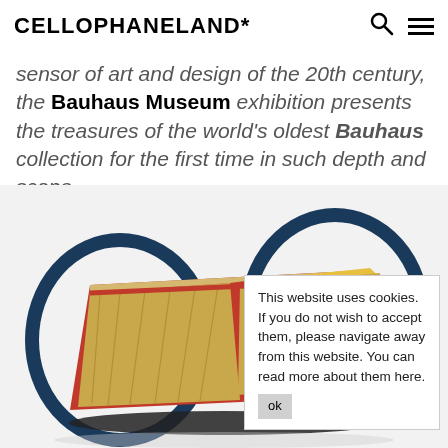CELLOPHANELAND*
sensor of art and design of the 20th century, the Bauhaus Museum exhibition presents the treasures of the world's oldest Bauhaus collection for the first time in such depth and scope.
[Figure (photo): Bauhaus cradle/rocker object with blue circular metal rings, red and tan woven textile body, and yellow panel, on white background]
This website uses cookies. If you do not wish to accept them, please navigate away from this website. You can read more about them here.